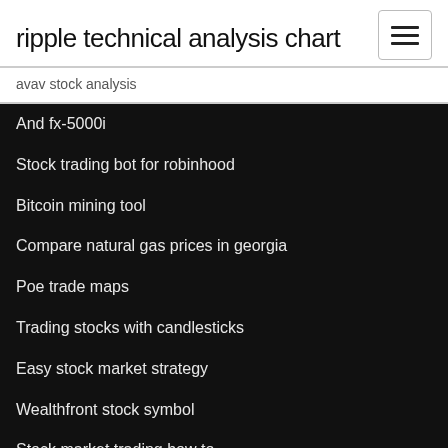ripple technical analysis chart
avav stock analysis
And fx-5000i
Stock trading bot for robinhood
Bitcoin mining tool
Compare natural gas prices in georgia
Poe trade maps
Trading stocks with candlesticks
Easy stock market strategy
Wealthfront stock symbol
Stock market trading how to
Forex usoil